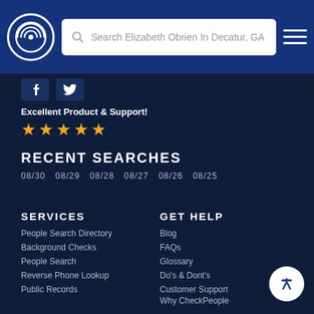Search Elizabeth Obrien In Decatur, GA
[Figure (logo): CheckPeople circular logo with signal/radar icon]
[Figure (other): Facebook and Twitter social media icons]
Excellent Product & Support! ★★★★★
RECENT SEARCHES
08/30  08/29  08/28  08/27  08/26  08/25
SERVICES
People Search Directory
Background Checks
People Search
Reverse Phone Lookup
Public Records
GET HELP
Blog
FAQs
Glossary
Do's & Dont's
Customer Support
Why CheckPeople
Testimonials